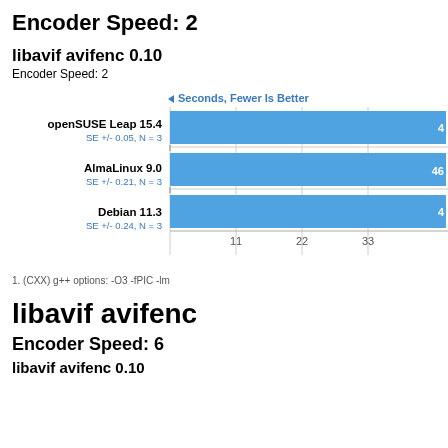Encoder Speed: 2
libavif avifenc 0.10
Encoder Speed: 2
[Figure (bar-chart): Seconds, Fewer Is Better]
1. (CXX) g++ options: -O3 -fPIC -lm
libavif avifenc
Encoder Speed: 6
libavif avifenc 0.10